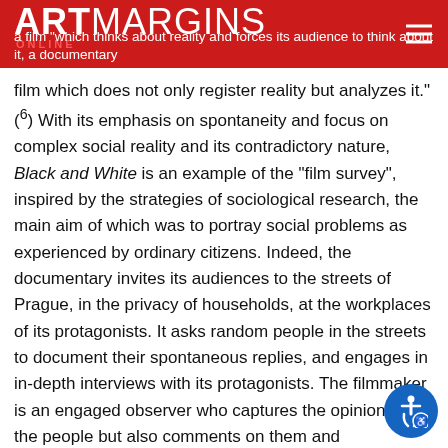ARTMARGINS ONLINE — a film "which thinks about reality and forces its audience to think about it, a documentary
film which does not only register reality but analyzes it."(6) With its emphasis on spontaneity and focus on complex social reality and its contradictory nature, Black and White is an example of the "film survey", inspired by the strategies of sociological research, the main aim of which was to portray social problems as experienced by ordinary citizens. Indeed, the documentary invites its audiences to the streets of Prague, in the privacy of households, at the workplaces of its protagonists. It asks random people in the streets to document their spontaneous replies, and engages in in-depth interviews with its protagonists. The filmmaker is an engaged observer who captures the opinions of the people but also comments on them and contextualizes them by drawing on his knowledge of history or literature. In his book, Navrátil characterizes documentary filmmakers pursuing "the ways of truth" as socially engaged authors interested in critical analysis of the facts of a life state socialist society. Implicit in this conception is a specific